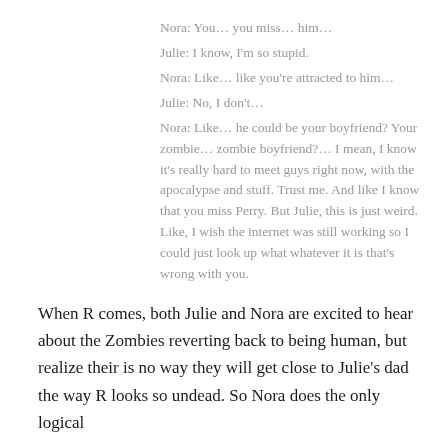Nora: You… you miss… him…
Julie: I know, I'm so stupid.
Nora: Like… like you're attracted to him…
Julie: No, I don't…
Nora: Like… he could be your boyfriend? Your zombie… zombie boyfriend?… I mean, I know it's really hard to meet guys right now, with the apocalypse and stuff. Trust me. And like I know that you miss Perry. But Julie, this is just weird. Like, I wish the internet was still working so I could just look up what whatever it is that's wrong with you.
When R comes, both Julie and Nora are excited to hear about the Zombies reverting back to being human, but realize their is no way they will get close to Julie's dad the way R looks so undead. So Nora does the only logical